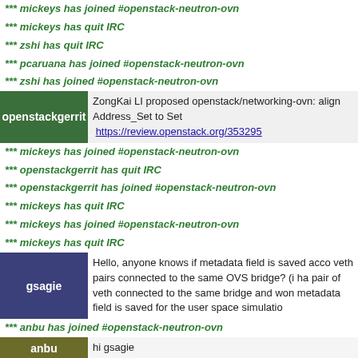*** mickeys has joined #openstack-neutron-ovn
*** mickeys has quit IRC
*** zshi has quit IRC
*** pcaruana has joined #openstack-neutron-ovn
*** zshi has joined #openstack-neutron-ovn
openstackgerrit | ZongKai LI proposed openstack/networking-ovn: align Address_Set to Set https://review.openstack.org/353295
*** mickeys has joined #openstack-neutron-ovn
*** openstackgerrit has quit IRC
*** openstackgerrit has joined #openstack-neutron-ovn
*** mickeys has quit IRC
*** mickeys has joined #openstack-neutron-ovn
*** mickeys has quit IRC
gsagie | Hello, anyone knows if metadata field is saved acco veth pairs connected to the same OVS bridge? (i ha pair of veth connected to the same bridge and won metadata field is saved for the user space simulatio
*** anbu has joined #openstack-neutron-ovn
anbu | hi gsagie
anbu | I worked on the QOS part.
anbu | I am not sure if there are such plans to apply a VM QOS policy.